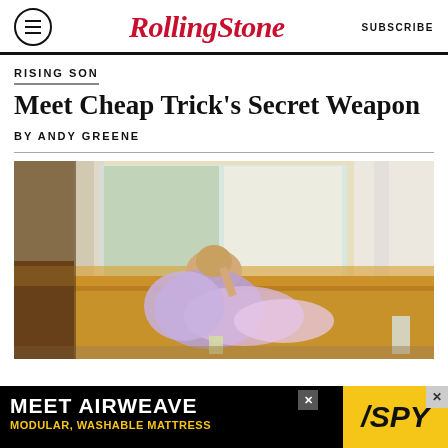Rolling Stone | SUBSCRIBE
RISING SON
Meet Cheap Trick's Secret Weapon
BY ANDY GREENE
[Figure (photo): Person reclining on a yellow/mustard sofa wearing a fluffy purple and pink feather coat, in a room with large windows and white curtains]
MEET AIRWEAVE MODULAR, WASHABLE MATTRESS | SPY